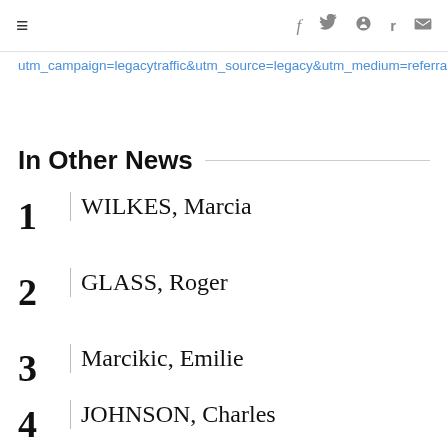≡  f  𝕏  p  reddit  ✉
utm_campaign=legacytraffic&utm_source=legacy&utm_medium=referral
In Other News
1  WILKES, Marcia
2  GLASS, Roger
3  Marcikic, Emilie
4  JOHNSON, Charles